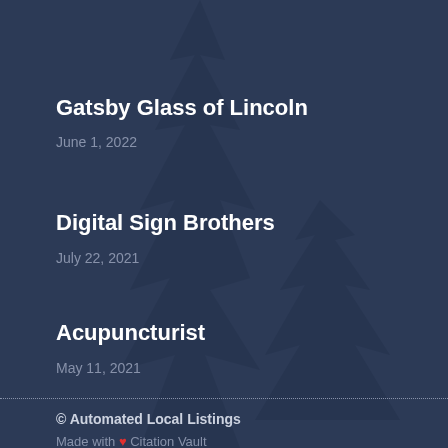Gatsby Glass of Lincoln
June 1, 2022
Digital Sign Brothers
July 22, 2021
Acupuncturist
May 11, 2021
© Automated Local Listings
Made with ❤ Citation Vault